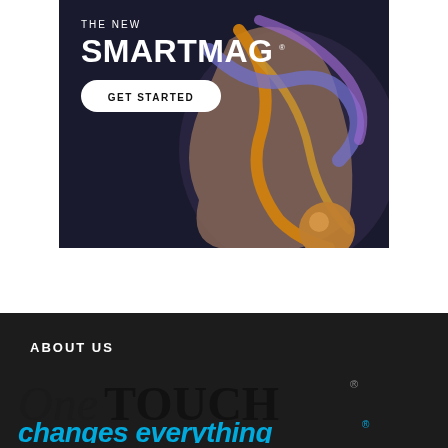[Figure (illustration): Advertisement banner for SmartMag showing a stylized figure with flowing colorful ribbons (orange, blue, purple) against a dark background. Text 'THE NEW SMARTMAG' with a 'GET STARTED' button.]
ABOUT US
[Figure (logo): OneTOUCH logo in large serif font on dark background, followed by 'changes everything®' in cyan/blue italic text below.]